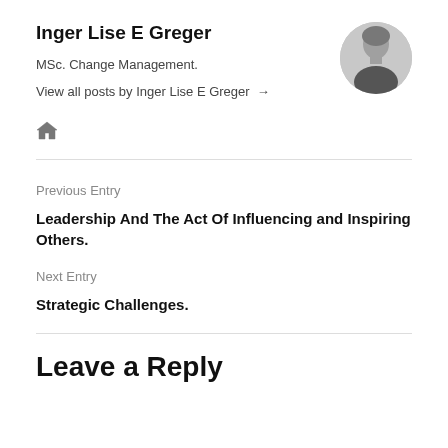Inger Lise E Greger
MSc. Change Management.
View all posts by Inger Lise E Greger →
[Figure (illustration): Circular profile photo of Inger Lise E Greger, a woman smiling, black and white photo]
[Figure (other): Home icon (house symbol) in grey]
Previous Entry
Leadership And The Act Of Influencing and Inspiring Others.
Next Entry
Strategic Challenges.
Leave a Reply